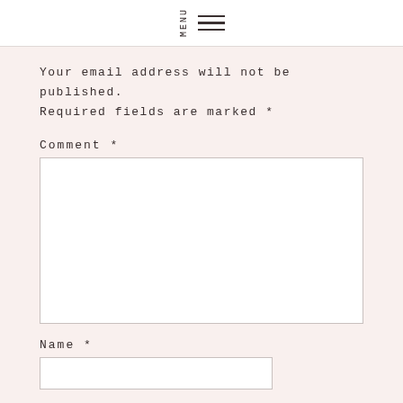MENU
Your email address will not be published. Required fields are marked *
Comment *
Name *